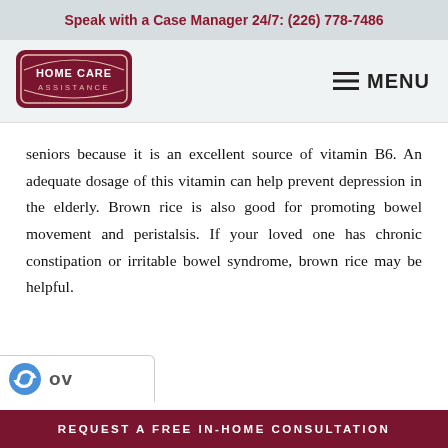Speak with a Case Manager 24/7: (226) 778-7486
[Figure (logo): Home Care Assistance logo — shield/badge shape with dark red border, text HOME CARE ASSISTANCE]
≡ MENU
seniors because it is an excellent source of vitamin B6. An adequate dosage of this vitamin can help prevent depression in the elderly. Brown rice is also good for promoting bowel movement and peristalsis. If your loved one has chronic constipation or irritable bowel syndrome, brown rice may be helpful.
[Figure (logo): reCAPTCHA logo (blue arrows) with text 'ov' visible — partial Google reCAPTCHA badge]
REQUEST A FREE IN-HOME CONSULTATION